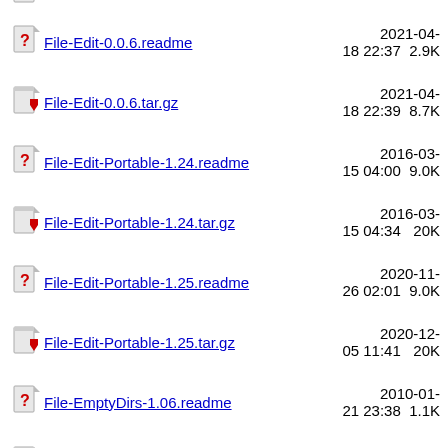File-Edit-0.0.6.readme  2021-04-18 22:37  2.9K
File-Edit-0.0.6.tar.gz  2021-04-18 22:39  8.7K
File-Edit-Portable-1.24.readme  2016-03-15 04:00  9.0K
File-Edit-Portable-1.24.tar.gz  2016-03-15 04:34  20K
File-Edit-Portable-1.25.readme  2020-11-26 02:01  9.0K
File-Edit-Portable-1.25.tar.gz  2020-12-05 11:41  20K
File-EmptyDirs-1.06.readme  2010-01-21 23:38  1.1K
File-EmptyDirs-1.06.tar.gz  2010-01-21 23:44  4.0K
File-ExtAttr-1.09.readme  2008-10-27 22:58  2.0K
File-ExtAttr-1.09.tar.gz  2009-03-07 19:37  36K
File-Extension-0.001.tar.gz  2018-12-15 00:02  1.0K